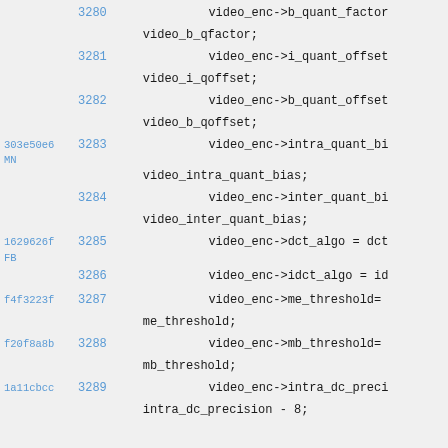3280    video_enc->b_quant_factor
            video_b_qfactor;
3281    video_enc->i_quant_offset
            video_i_qoffset;
3282    video_enc->b_quant_offset
            video_b_qoffset;
303e50e6 MN  3283    video_enc->intra_quant_bi
            video_intra_quant_bias;
3284    video_enc->inter_quant_bi
            video_inter_quant_bias;
1629626f FB  3285    video_enc->dct_algo = dct
3286    video_enc->idct_algo = id
f4f3223f  3287    video_enc->me_threshold=
            me_threshold;
f20f8a8b  3288    video_enc->mb_threshold=
            mb_threshold;
1a11cbcc  3289    video_enc->intra_dc_preci
            intra_dc_precision - 8;